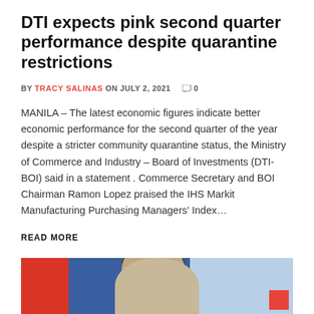DTI expects pink second quarter performance despite quarantine restrictions
BY TRACY SALINAS ON JULY 2, 2021  0
MANILA – The latest economic figures indicate better economic performance for the second quarter of the year despite a stricter community quarantine status, the Ministry of Commerce and Industry – Board of Investments (DTI-BOI) said in a statement . Commerce Secretary and BOI Chairman Ramon Lopez praised the IHS Markit Manufacturing Purchasing Managers' Index...
READ MORE
[Figure (photo): Photo of a man in a floral shirt looking downward, with a Philippine flag in the background (red and blue sections), and a red square overlay in the bottom right corner.]